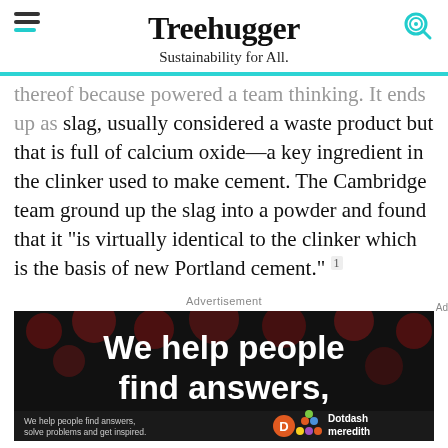Treehugger — Sustainability for All.
...thereof because powered a team thinking. It ends up as slag, usually considered a waste product but that is full of calcium oxide—a key ingredient in the clinker used to make cement. The Cambridge team ground up the slag into a powder and found that it "is virtually identical to the clinker which is the basis of new Portland cement." 1
Advertisement
[Figure (screenshot): Advertisement banner: 'We help people find answers,' with Dotdash Meredith branding on dark background with red dots]